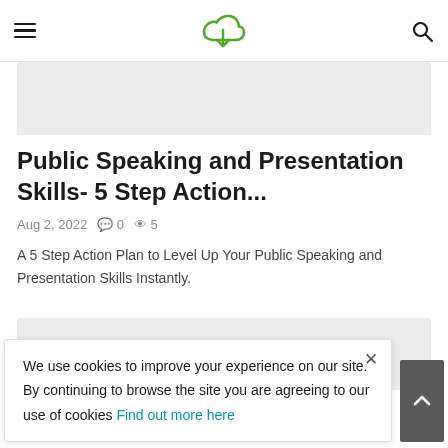Navigation header with hamburger menu, cloud download logo, and search icon
[Figure (photo): Grey image placeholder area below header]
Public Speaking and Presentation Skills- 5 Step Action...
Aug 2, 2022  0  5
A 5 Step Action Plan to Level Up Your Public Speaking and Presentation Skills Instantly.
[Figure (photo): Grey image placeholder area]
We use cookies to improve your experience on our site. By continuing to browse the site you are agreeing to our use of cookies Find out more here